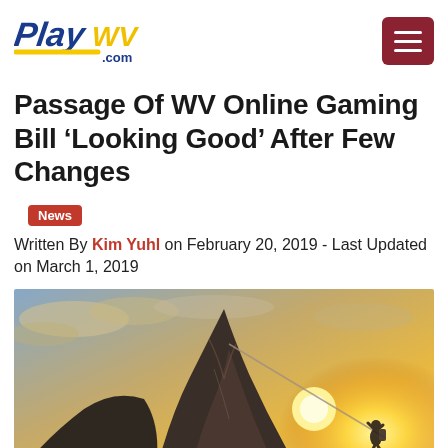PlayWV.com [logo] [menu button]
Passage Of WV Online Gaming Bill ‘Looking Good’ After Few Changes
News
Written By Kim Yuhl on February 20, 2019 - Last Updated on March 1, 2019
[Figure (photo): A rock climber rappelling down a dramatic rocky peak with a bright sunburst sky and clouds in the background]